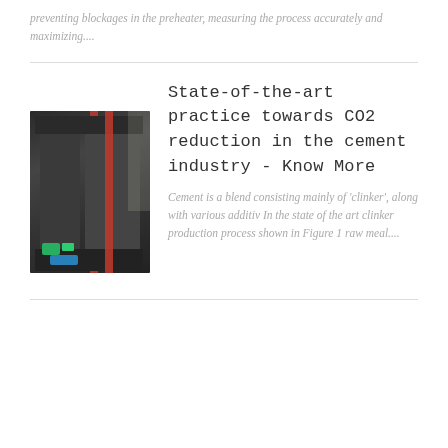preventing blockages in the preheater, measuring the process accurately and maximizing....
[Figure (photo): Industrial machine in a factory setting, large dark metal press or forming machine with red vertical columns/pistons and green/blue components at the base]
State-of-the-art practice towards CO2 reduction in the cement industry - Know More
Cement is a blend consisting mainly of 'clinker', along with various additiv In the state of the art clinker production process shown in Figure 1 raw meal....